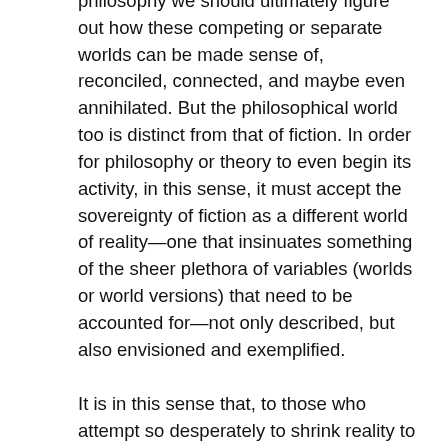philosophy we should ultimately figure out how these competing or separate worlds can be made sense of, reconciled, connected, and maybe even annihilated. But the philosophical world too is distinct from that of fiction. In order for philosophy or theory to even begin its activity, in this sense, it must accept the sovereignty of fiction as a different world of reality—one that insinuates something of the sheer plethora of variables (worlds or world versions) that need to be accounted for—not only described, but also envisioned and exemplified.
It is in this sense that, to those who attempt so desperately to shrink reality to their flat political visions, Applied Ballardianism's orientation may seem starkly apolitical. However, it is necessary to see this book as playing precisely the multi-level game with